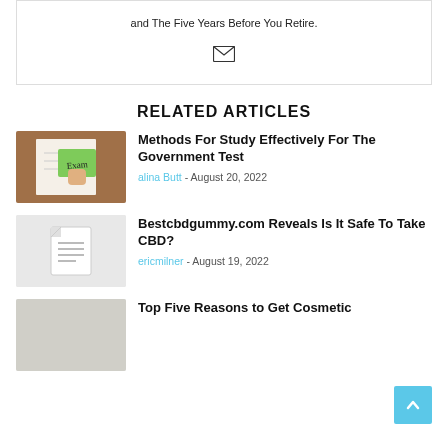and The Five Years Before You Retire.
RELATED ARTICLES
[Figure (photo): Hand holding a green sticky note with 'Exam' written on it over a notebook]
Methods For Study Effectively For The Government Test
alina Butt - August 20, 2022
[Figure (photo): Document icon placeholder image]
Bestcbdgummy.com Reveals Is It Safe To Take CBD?
ericmilner - August 19, 2022
[Figure (photo): Light colored placeholder image for cosmetic article]
Top Five Reasons to Get Cosmetic